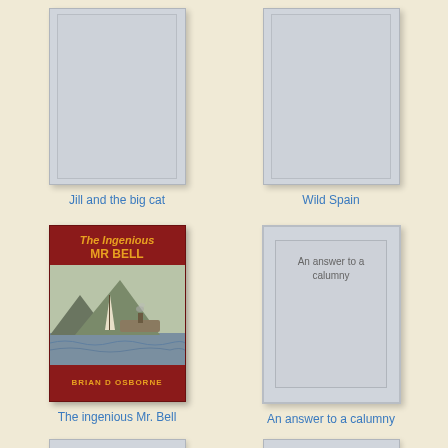[Figure (illustration): Book cover placeholder for 'Jill and the big cat' - grey rectangle]
Jill and the big cat
[Figure (illustration): Book cover placeholder for 'Wild Spain' - grey rectangle]
Wild Spain
[Figure (illustration): Book cover for 'The Ingenious Mr Bell' by Brian D Osborne - dark red cover with gold italic title text and ship illustration]
The ingenious Mr. Bell
[Figure (illustration): Book cover placeholder for 'An answer to a calumny' - light grey rectangle with text]
An answer to a calumny
[Figure (illustration): Partial book cover placeholder at bottom left]
[Figure (illustration): Partial book cover placeholder at bottom right]